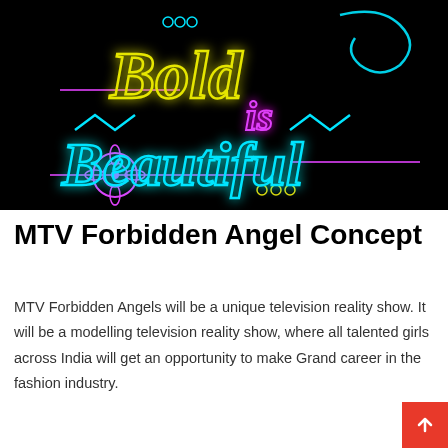[Figure (illustration): Neon sign on black background with cursive yellow text 'Bold', pink 'is', and cyan 'Beautiful', with decorative neon flower and swirl elements. Zigzag lightning bolt lines in cyan, pink horizontal lines, and small circle decorations are scattered around.]
MTV Forbidden Angel Concept
MTV Forbidden Angels will be a unique television reality show. It will be a modelling television reality show, where all talented girls across India will get an opportunity to make Grand career in the fashion industry.